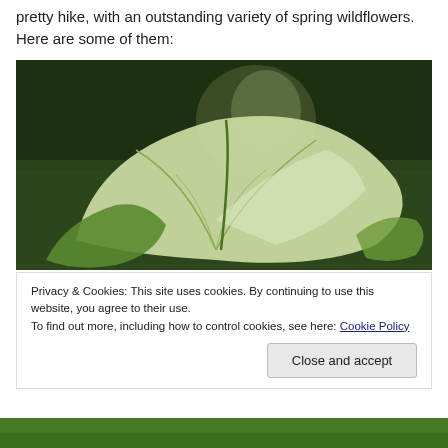pretty hike, with an outstanding variety of spring wildflowers. Here are some of them:
[Figure (photo): Close-up photo of a large green leaf (trillium or similar wildflower) against a dark green blurred forest background]
Privacy & Cookies: This site uses cookies. By continuing to use this website, you agree to their use.
To find out more, including how to control cookies, see here: Cookie Policy
[Close and accept button]
[Figure (photo): Bottom sliver of another green outdoor/nature photo]